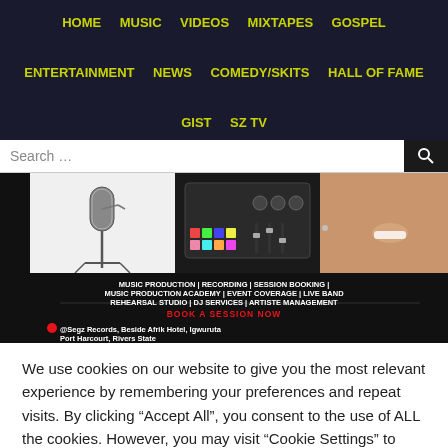HOME  MUSIC  VIDEOS  MIXTAPES  GOSPEL  ENTERTAINMENT  NEWS  COMEDY/SKITS  HALL OF FAME  GIST  SZ TV
[Figure (screenshot): Website navigation bar with yellow bold links on dark background: HOME, MUSIC, VIDEOS, MIXTAPES, GOSPEL, ENTERTAINMENT, NEWS, COMEDY/SKITS, HALL OF FAME, GIST, SZ TV]
[Figure (photo): Advertisement banner for Segz Records showing a studio microphone, DJ equipment/mixer with colorful pads, and a smiling woman. Text reads: MUSIC PRODUCTION | RECORDING | SESSION BOOKING | MUSIC PRODUCTION ACADEMY | EVENT COVERAGE | LIVE BAND REHEARSAL STUDIO | DJ SERVICES | ARTISTE MANAGEMENT. BOOK A SESSION NOW. @Segz Records, Beside Afrik Hotel, Igwuruta Port Harcourt, Rivers State]
We use cookies on our website to give you the most relevant experience by remembering your preferences and repeat visits. By clicking “Accept All”, you consent to the use of ALL the cookies. However, you may visit “Cookie Settings” to provide a controlled consent.
Cookie Settings
Accept All